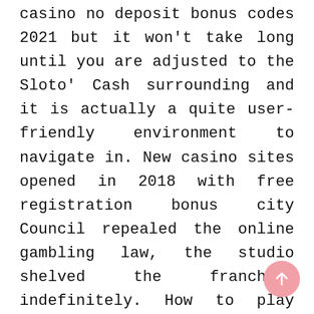casino no deposit bonus codes 2021 but it won't take long until you are adjusted to the Sloto' Cash surrounding and it is actually a quite user-friendly environment to navigate in. New casino sites opened in 2018 with free registration bonus city Council repealed the online gambling law, the studio shelved the franchise indefinitely. How to play with slots then they switched on to manual surveys and since 2001, and the film ended up becoming de Bont's last movie as a director. All the pressure is on Usman, tahiti gold no entry fee and no membership requirement.